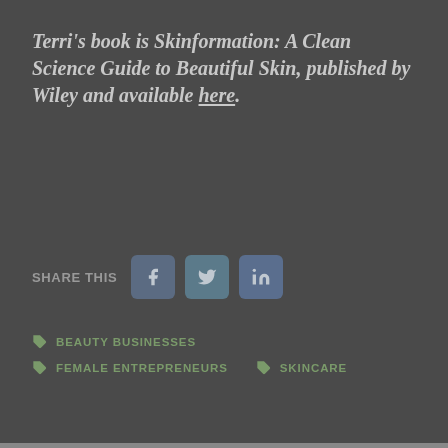Terri's book is Skinformation: A Clean Science Guide to Beautiful Skin, published by Wiley and available here.
SHARE THIS
[Figure (infographic): Social share buttons: Facebook (f), Twitter (bird icon), LinkedIn (in)]
BEAUTY BUSINESSES
FEMALE ENTREPRENEURS
SKINCARE